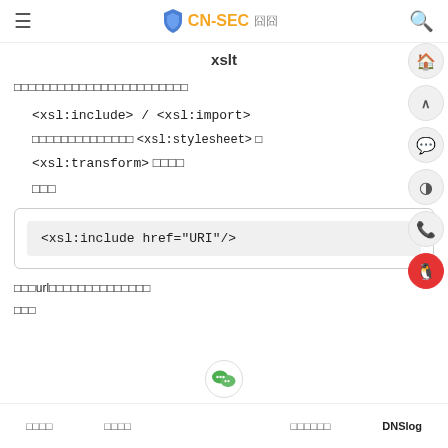CN-SEC 中文
xslt
□□□□□□□□□□□□□□□□□□□□□□□□
<xsl:include> / <xsl:import>
□□□□□□□□□□□□□□ <xsl:stylesheet> □
<xsl:transform> □□□□
□□□
<xsl:include href="URI"/>
□□□url□□□□□□□□□□□□□□
□□□
□□□□  □□□□  □□□□□□  DNSlog